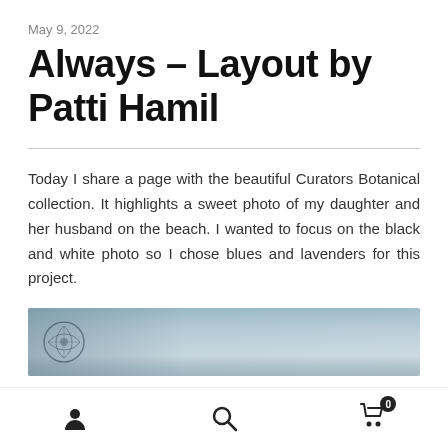May 9, 2022
Always – Layout by Patti Hamil
Today I share a page with the beautiful Curators Botanical collection. It highlights a sweet photo of my daughter and her husband on the beach. I wanted to focus on the black and white photo so I chose blues and lavenders for this project.
[Figure (photo): A blue-grey textured background photo strip, likely a scrapbook layout image showing a beach/botanical theme with a decorative shell motif on the left side.]